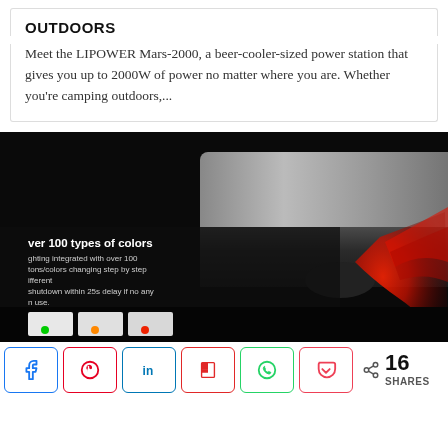OUTDOORS
Meet the LIPOWER Mars-2000, a beer-cooler-sized power station that gives you up to 2000W of power no matter where you are. Whether you're camping outdoors,...
[Figure (photo): Dark product photo showing a sleek electronic device with red glowing light underneath. Left side shows text about 'over 100 types of colors' with lighting integrated with over 100 tones/colors changing step by step, different, shutdown within 25s delay if no any in use. Three small device icons shown with green, orange, and red indicators.]
16 SHARES with social share buttons: Facebook, Pinterest, LinkedIn, Flipboard, WhatsApp, Pocket